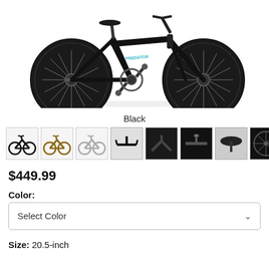[Figure (photo): A black BMX bicycle shown from the side on a white background. The bike has large black tires with many spokes, a low frame with teal/blue lettering, and no seat visible from this angle.]
Black
[Figure (photo): Row of 8 product thumbnail images showing different views and color variants of the BMX bicycle: full bike in black, full bike in tan/gold, full bike in white/light color, handlebars closeup, stem/headset closeup, handlebar top view, seat closeup, wheel/tire closeup.]
$449.99
Color:
Select Color
Size:  20.5-inch